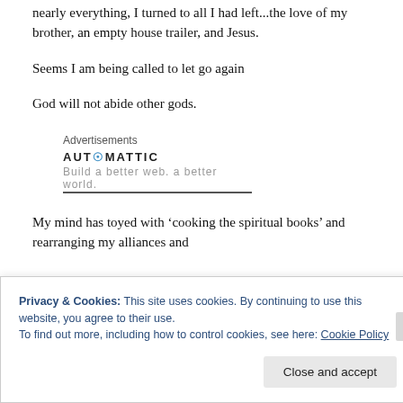nearly everything, I turned to all I had left...the love of my brother, an empty house trailer, and Jesus.
Seems I am being called to let go again
God will not abide other gods.
[Figure (other): Automattic advertisement block with logo and partially visible tagline]
My mind has toyed with ‘cooking the spiritual books’ and rearranging my alliances and
Privacy & Cookies: This site uses cookies. By continuing to use this website, you agree to their use.
To find out more, including how to control cookies, see here: Cookie Policy
Close and accept